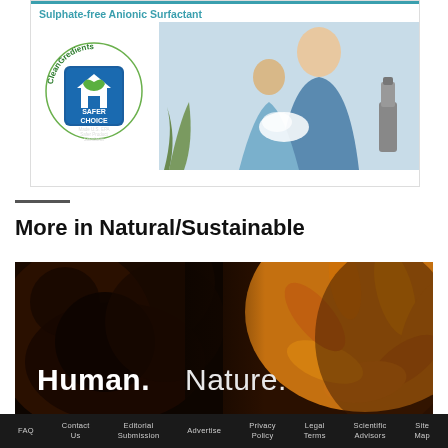[Figure (illustration): Advertisement banner showing CleanGredients Safer Choice logo on left and a mother with child washing hands on right, with teal header line and text 'Sulphate-free Anionic Surfactant']
More in Natural/Sustainable
[Figure (photo): Dark atmospheric photo with text 'Human. Nature.' overlaid — left half shows dark texture (hair/organic material), right half shows golden sunflower petals in warm light]
FAQ   Contact Us   Editorial Submission   Advertise   Privacy Policy   Legal Terms   Scientific Advisors   Site Map